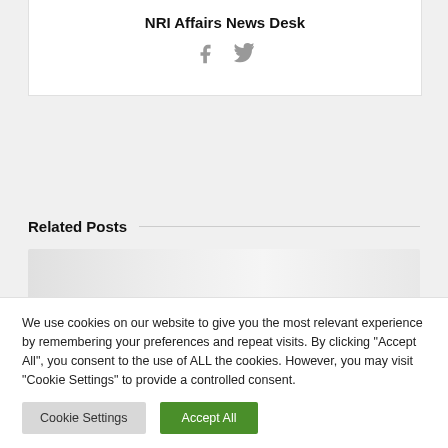NRI Affairs News Desk
[Figure (other): Social media icons: Facebook and Twitter in grey]
Related Posts
[Figure (photo): Blurred/placeholder image for a related post]
We use cookies on our website to give you the most relevant experience by remembering your preferences and repeat visits. By clicking "Accept All", you consent to the use of ALL the cookies. However, you may visit "Cookie Settings" to provide a controlled consent.
Cookie Settings | Accept All